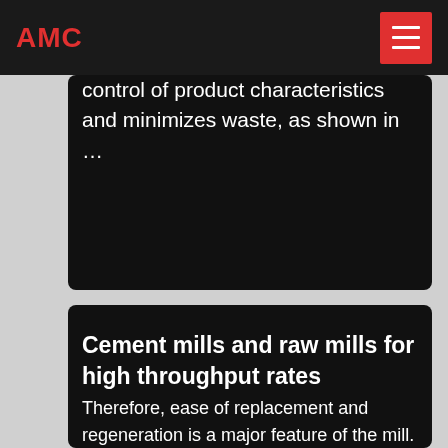AMC
control of product characteristics and minimizes waste, as shown in …
Cement mills and raw mills for high throughput rates
Therefore, ease of replacement and regeneration is a major feature of the mill. The MVR mill has a modern hydraulic system used in operation and for maintenance alike. With this new type of roller suspension, the rollers can be swung out of the mill in a controlled way – for ease of replacing the one-part grinding roller tires.